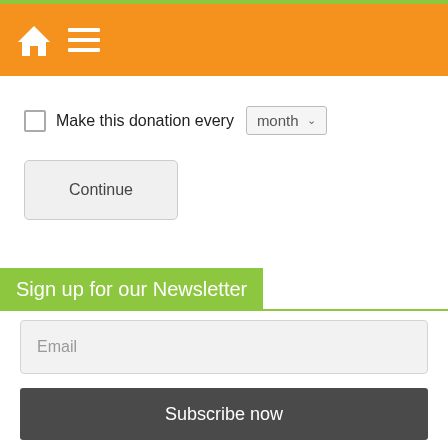Make this donation every  month
Continue
Sign up for our Newsletter
Email
Subscribe now
LIFEstockProtect events
SEPTEMBER